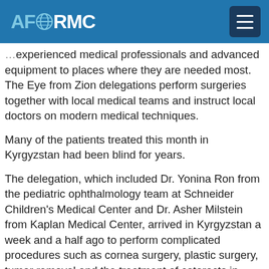AFORMC
experienced medical professionals and advanced equipment to places where they are needed most. The Eye from Zion delegations perform surgeries together with local medical teams and instruct local doctors on modern medical techniques.
Many of the patients treated this month in Kyrgyzstan had been blind for years.
The delegation, which included Dr. Yonina Ron from the pediatric ophthalmology team at Schneider Children's Medical Center and Dr. Asher Milstein from Kaplan Medical Center, arrived in Kyrgyzstan a week and a half ago to perform complicated procedures such as cornea surgery, plastic surgery, tumor removal and the treatment of cataracts in children.